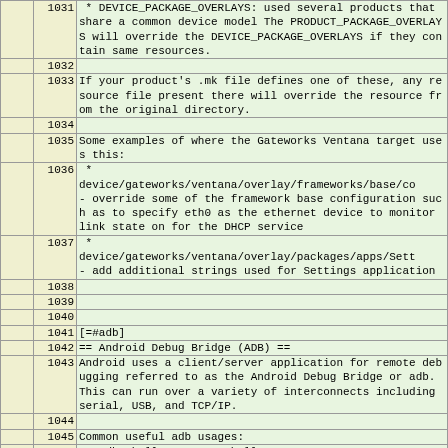|  | line | content |
| --- | --- | --- |
|  | 1031 | * DEVICE_PACKAGE_OVERLAYS: used several products that share a common device model The PRODUCT_PACKAGE_OVERLAYS will override the DEVICE_PACKAGE_OVERLAYS if they contain same resources. |
|  | 1032 |  |
|  | 1033 | If your product's .mk file defines one of these, any resource file present there will override the resource from the original directory. |
|  | 1034 |  |
|  | 1035 | Some examples of where the Gateworks Ventana target uses this: |
|  | 1036 |   *
device/gateworks/ventana/overlay/frameworks/base/co
- override some of the framework base configuration such as to specify eth0 as the ethernet device to monitor link state on for the DHCP service |
|  | 1037 |   *
device/gateworks/ventana/overlay/packages/apps/Sett
- add additional strings used for Settings application |
|  | 1038 |  |
|  | 1039 |  |
|  | 1040 |  |
|  | 1041 | [=#adb] |
|  | 1042 | == Android Debug Bridge (ADB) == |
|  | 1043 | Android uses a client/server application for remote debugging referred to as the Android Debug Bridge or adb. This can run over a variety of interconnects including serial, USB, and TCP/IP. |
|  | 1044 |  |
|  | 1045 | Common useful adb usages: |
|  | 1046 |   - adb shell - open a shell on target |
|  | 1047 |   - adb reboot bootloader :# reboot to bootloader |